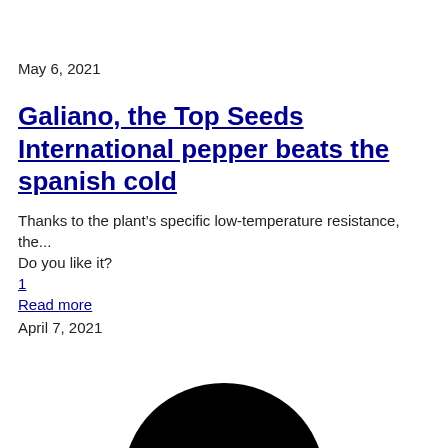May 6, 2021
Galiano, the Top Seeds International pepper beats the spanish cold
Thanks to the plant’s specific low-temperature resistance, the...
Do you like it?
1
Read more
April 7, 2021
[Figure (illustration): Black semicircle / circle shape at the bottom of the page]